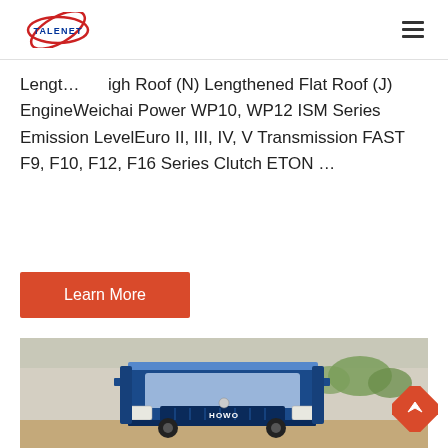TALENET
Lengt... ...igh Roof (N) Lengthened Flat Roof (J) EngineWeichai Power WP10, WP12 ISM Series Emission LevelEuro II, III, IV, V Transmission FAST F9, F10, F12, F16 Series Clutch ETON ...
Learn More
[Figure (photo): Front view of a blue HOWO heavy truck parked outdoors with trees in background]